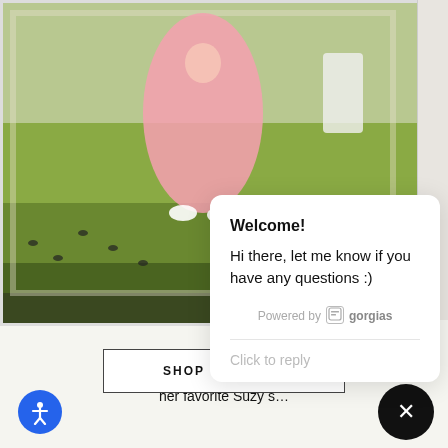[Figure (photo): Fashion photo showing a person in a pink dress on a green lawn, with white boots/shoes visible, birds on the grass, outdoor scene]
[Figure (screenshot): Chat popup widget from Gorgias showing welcome message: 'Welcome! Hi there, let me know if you have any questions :)' with 'Click to reply' input and Powered by gorgias footer]
T
We love spotting flawl... her favorite Suzy s...
SHOP EYEWEAR